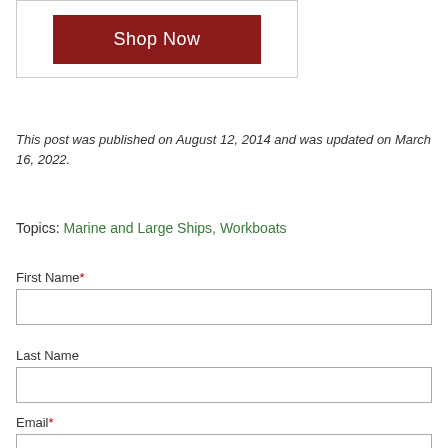[Figure (other): Shop Now button inside a bordered box with dark red background]
This post was published on August 12, 2014 and was updated on March 16, 2022.
Topics: Marine and Large Ships, Workboats
First Name*
Last Name
Email*